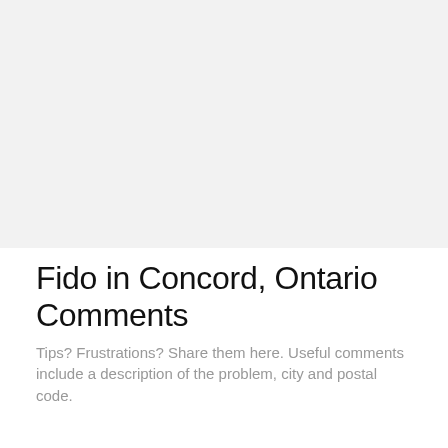[Figure (other): Light gray rectangular area occupying the top half of the page, likely a placeholder for an image or map.]
Fido in Concord, Ontario Comments
Tips? Frustrations? Share them here. Useful comments include a description of the problem, city and postal code.